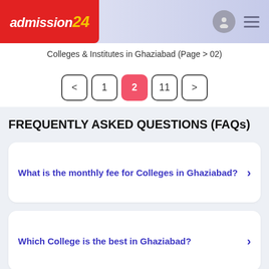admission24
Colleges & Institutes in Ghaziabad (Page > 02)
< 1 2 11 >
FREQUENTLY ASKED QUESTIONS (FAQs)
What is the monthly fee for Colleges in Ghaziabad?
Which College is the best in Ghaziabad?